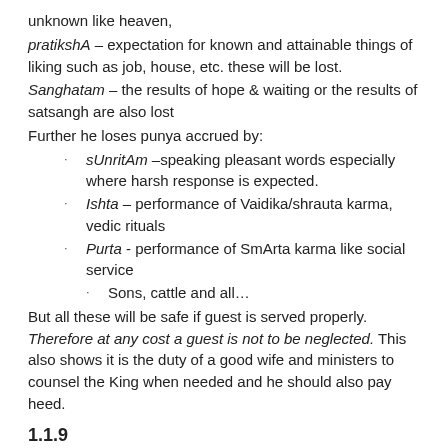unknown like heaven,
pratikshA – expectation for known and attainable things of liking such as job, house, etc. these will be lost.
Sanghatam – the results of hope & waiting or the results of satsangh are also lost
Further he loses punya accrued by:
sUnritAm – speaking pleasant words especially where harsh response is expected.
Ishta – performance of Vaidika/shrauta karma, vedic rituals
Purta - performance of SmArta karma like social service
Sons, cattle and all…
But all these will be safe if guest is served properly. Therefore at any cost a guest is not to be neglected. This also shows it is the duty of a good wife and ministers to counsel the King when needed and he should also pay heed.
1.1.9